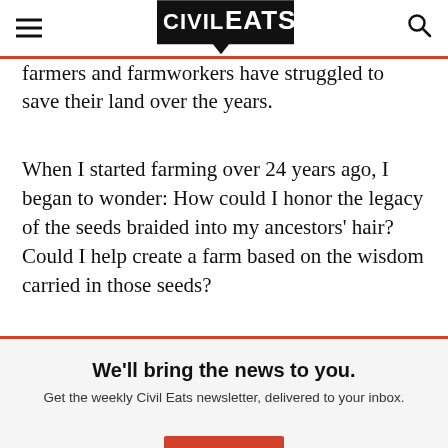Civil Eats
farmers and farmworkers have struggled to save their land over the years.
When I started farming over 24 years ago, I began to wonder: How could I honor the legacy of the seeds braided into my ancestors' hair? Could I help create a farm based on the wisdom carried in those seeds?
We'll bring the news to you.
Get the weekly Civil Eats newsletter, delivered to your inbox.